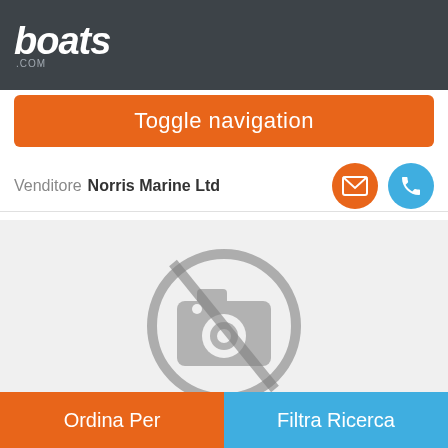boats.com
Toggle navigation
Venditore Norris Marine Ltd
[Figure (screenshot): No photo available placeholder: camera icon with a diagonal cross line through it, on a light grey background]
Ordina Per
Filtra Ricerca